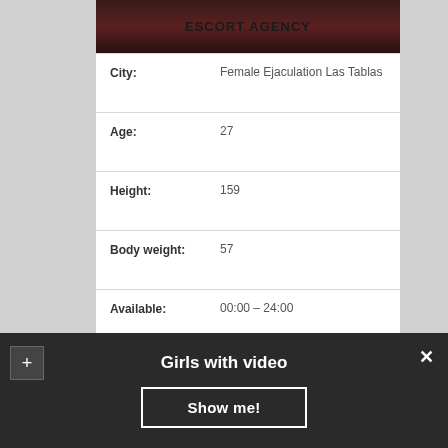[Figure (photo): Partial image of a person with escort agency text overlay at top]
| City: | Female Ejaculation Las Tablas |
| Age: | 27 |
| Height: | 159 |
| Body weight: | 57 |
| Available: | 00:00 – 24:00 |
| Overnight: | No Problem |
| Escort Preferences: | Massage classic, Disabled Clients, Striptease |
| Outcall: | Hotel Room |
| 30 min: | 90Doll |
Girls with video
Show me!